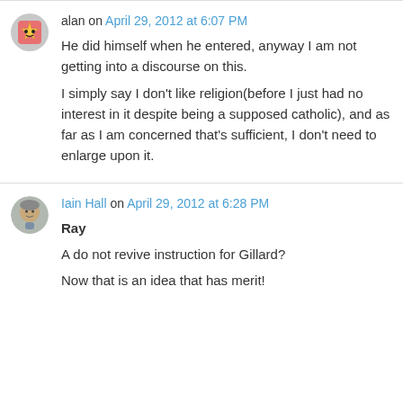alan on April 29, 2012 at 6:07 PM
He did himself when he entered, anyway I am not getting into a discourse on this. I simply say I don't like religion(before I just had no interest in it despite being a supposed catholic), and as far as I am concerned that's sufficient, I don't need to enlarge upon it.
Iain Hall on April 29, 2012 at 6:28 PM
Ray
A do not revive instruction for Gillard?
Now that is an idea that has merit!